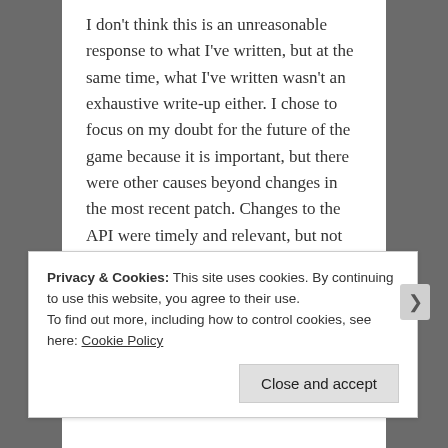I don't think this is an unreasonable response to what I've written, but at the same time, what I've written wasn't an exhaustive write-up either. I chose to focus on my doubt for the future of the game because it is important, but there were other causes beyond changes in the most recent patch. Changes to the API were timely and relevant, but not the entire story either.
I have actually barely been able to log onto the PTS for around a month now. It's partially the bugs, horrendous balance, and other technical problems, but it also boils
Privacy & Cookies: This site uses cookies. By continuing to use this website, you agree to their use.
To find out more, including how to control cookies, see here: Cookie Policy
Close and accept